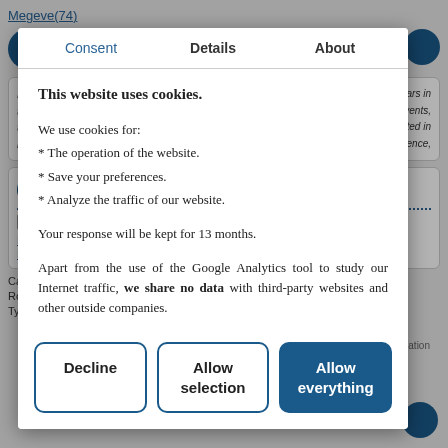[Figure (screenshot): Background webpage showing hotel listing with navigation menu icon, room details, italic descriptive text, dotted lines, blue circular icon with letter N, links in blue, and capacity/rooms/type fields at bottom.]
[Figure (screenshot): Cookie consent modal dialog overlaying the webpage. Contains three tabs: Consent (active), Details, About. Title: 'This website uses cookies.' Lists cookie uses: operation of website, save preferences, analyze traffic. States response kept 13 months. States no data shared with third-party websites. Three buttons: Decline, Allow selection, Allow everything.]
This website uses cookies.
We use cookies for:
* The operation of the website.
* Save your preferences.
* Analyze the traffic of our website.
Your response will be kept for 13 months.
Apart from the use of the Google Analytics tool to study our Internet traffic, we share no data with third-party websites and other outside companies.